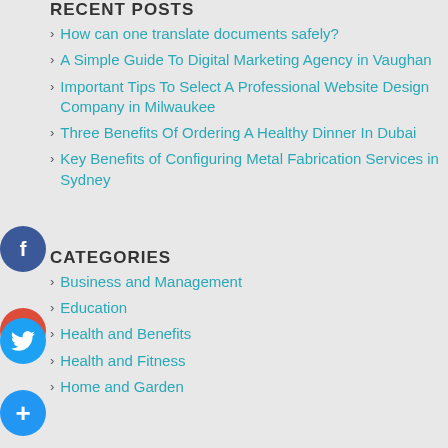RECENT POSTS
How can one translate documents safely?
A Simple Guide To Digital Marketing Agency in Vaughan
Important Tips To Select A Professional Website Design Company in Milwaukee
Three Benefits Of Ordering A Healthy Dinner In Dubai
Key Benefits of Configuring Metal Fabrication Services in Sydney
CATEGORIES
Business and Management
Education
Health and Benefits
Health and Fitness
Home and Garden